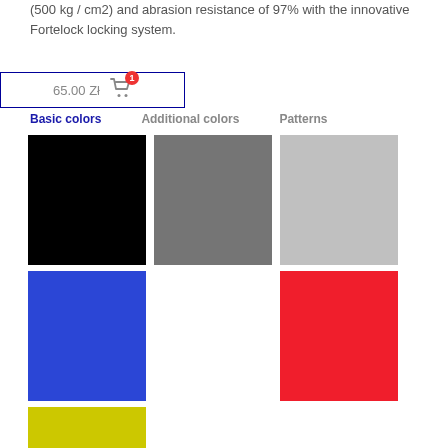(500 kg / cm2) and abrasion resistance of 97% with the innovative Fortelock locking system.
[Figure (screenshot): Shopping cart button showing price 65.00 Zł with cart icon and badge showing 1]
Basic colors | Additional colors | Patterns
[Figure (other): Color swatches grid: black, gray (medium), light gray in first row; blue, empty, red in second row; yellow (partial) in third row]